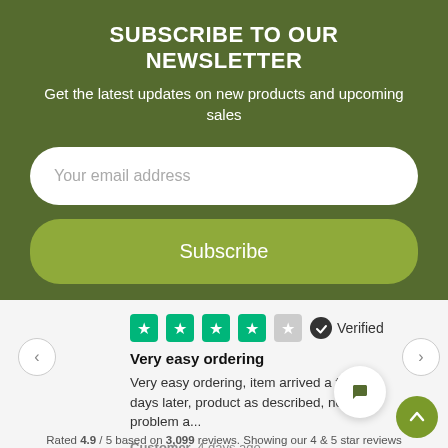SUBSCRIBE TO OUR NEWSLETTER
Get the latest updates on new products and upcoming sales
Your email address
Subscribe
[Figure (screenshot): 4 out of 5 green Trustpilot stars with Verified badge]
Very easy ordering
Very easy ordering, item arrived a few days later, product as described, no problem a...
Customer, 4 days ago
Rated 4.9 / 5 based on 3,099 reviews. Showing our 4 & 5 star reviews